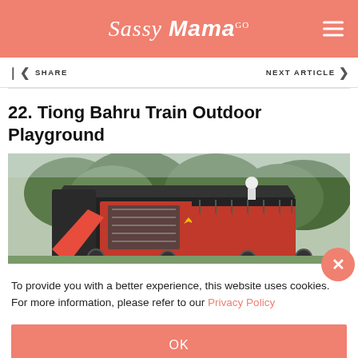Sassy Mama
SHARE   NEXT ARTICLE
22. Tiong Bahru Train Outdoor Playground
[Figure (photo): Outdoor playground shaped like a train, black and red with yellow accents, surrounded by green trees]
To provide you with a better experience, this website uses cookies. For more information, please refer to our Privacy Policy
OK